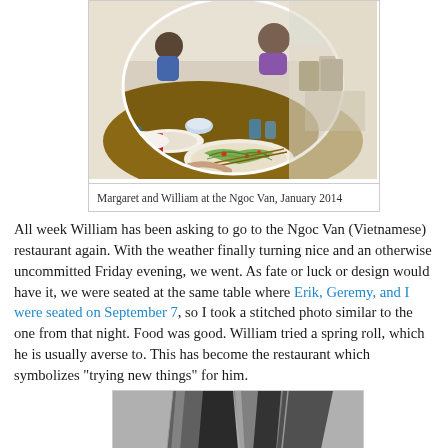[Figure (photo): Stitched/circular photo of Margaret and William at the Ngoc Van Vietnamese restaurant, January 2014, showing food dishes on a table]
Margaret and William at the Ngoc Van, January 2014
All week William has been asking to go to the Ngoc Van (Vietnamese) restaurant again. With the weather finally turning nice and an otherwise uncommitted Friday evening, we went. As fate or luck or design would have it, we were seated at the same table where Erik, Geremy, and I were seated on September 7, so I took a stitched photo similar to the one from that night. Food was good. William tried a spring roll, which he is usually averse to. This has become the restaurant which symbolizes "trying new things" for him.
[Figure (photo): Bottom portion of a black and white sculptural or architectural object, partially cropped]